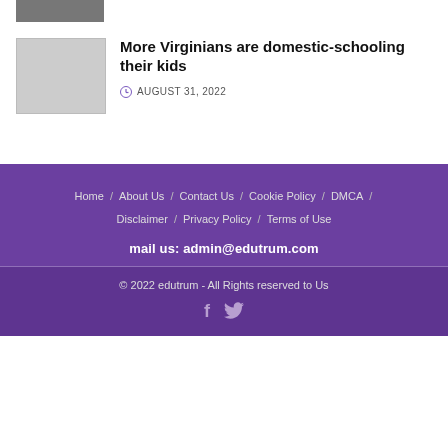[Figure (photo): Partial image strip at top of page]
[Figure (photo): Article thumbnail image, gray placeholder]
More Virginians are domestic-schooling their kids
AUGUST 31, 2022
Home / About Us / Contact Us / Cookie Policy / DMCA / Disclaimer / Privacy Policy / Terms of Use
mail us: admin@edutrum.com
© 2022 edutrum - All Rights reserved to Us